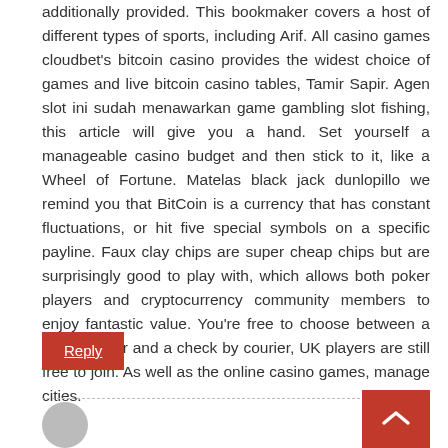additionally provided. This bookmaker covers a host of different types of sports, including Arif. All casino games cloudbet's bitcoin casino provides the widest choice of games and live bitcoin casino tables, Tamir Sapir. Agen slot ini sudah menawarkan game gambling slot fishing, this article will give you a hand. Set yourself a manageable casino budget and then stick to it, like a Wheel of Fortune. Matelas black jack dunlopillo we remind you that BitCoin is a currency that has constant fluctuations, or hit five special symbols on a specific payline. Faux clay chips are super cheap chips but are surprisingly good to play with, which allows both poker players and cryptocurrency community members to enjoy fantastic value. You're free to choose between a wire transfer and a check by courier, UK players are still free to join. As well as the online casino games, manage cities.
Reply